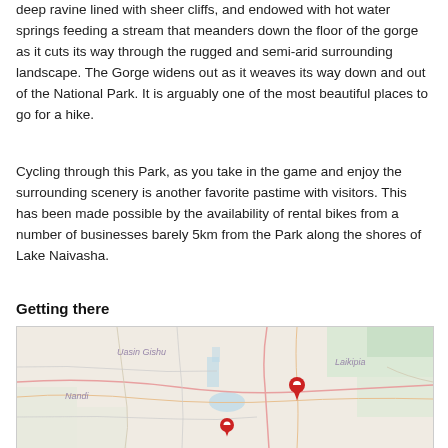deep ravine lined with sheer cliffs, and endowed with hot water springs feeding a stream that meanders down the floor of the gorge as it cuts its way through the rugged and semi-arid surrounding landscape. The Gorge widens out as it weaves its way down and out of the National Park. It is arguably one of the most beautiful places to go for a hike.
Cycling through this Park, as you take in the game and enjoy the surrounding scenery is another favorite pastime with visitors. This has been made possible by the availability of rental bikes from a number of businesses barely 5km from the Park along the shores of Lake Naivasha.
Getting there
[Figure (map): Map showing region around Lake Naivasha, Kenya, with labels for Uasin Gishu, Laikipia, and Nandi regions. Two red location pin markers are visible on the map.]